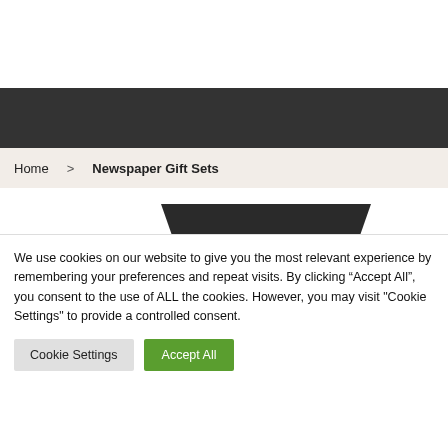[Figure (screenshot): White header area of a website]
[Figure (screenshot): Dark navigation bar of a website]
Home > Newspaper Gift Sets
[Figure (photo): Partial view of a dark flat box/product (Newspaper Gift Sets product image)]
We use cookies on our website to give you the most relevant experience by remembering your preferences and repeat visits. By clicking “Accept All”, you consent to the use of ALL the cookies. However, you may visit "Cookie Settings" to provide a controlled consent.
Cookie Settings
Accept All